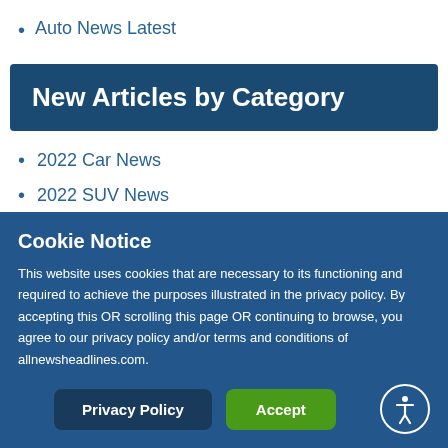Auto News Latest
New Articles by Category
2022 Car News
2022 SUV News
2022 Truck News
Cookie Notice
This website uses cookies that are necessary to its functioning and required to achieve the purposes illustrated in the privacy policy. By accepting this OR scrolling this page OR continuing to browse, you agree to our privacy policy and/or terms and conditions of allnewsheadlines.com.
Privacy Policy
Accept